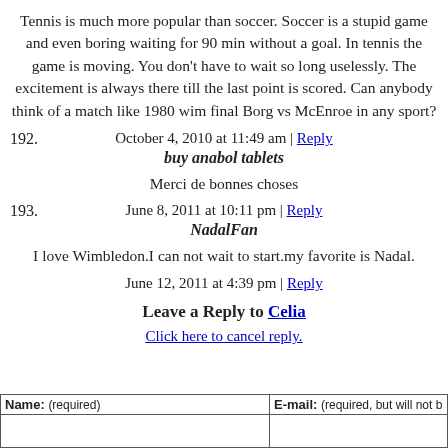Tennis is much more popular than soccer. Soccer is a stupid game and even boring waiting for 90 min without a goal. In tennis the game is moving. You don't have to wait so long uselessly. The excitement is always there till the last point is scored. Can anybody think of a match like 1980 wim final Borg vs McEnroe in any sport?
October 4, 2010 at 11:49 am | Reply
192. buy anabol tablets
Merci de bonnes choses
June 8, 2011 at 10:11 pm | Reply
193. NadalFan
I love Wimbledon.I can not wait to start.my favorite is Nadal.
June 12, 2011 at 4:39 pm | Reply
Leave a Reply to Celia
Click here to cancel reply.
| Name: (required) | E-mail: (required, but will not be published) |
| --- | --- |
|  |  |